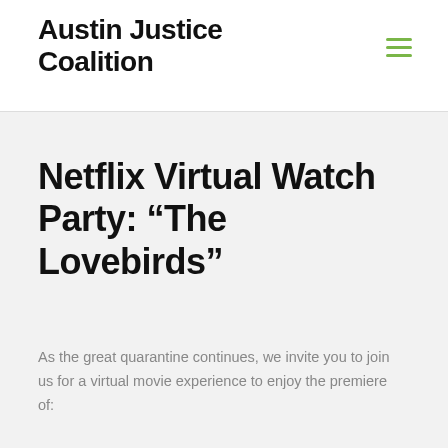Austin Justice Coalition
Netflix Virtual Watch Party: “The Lovebirds”
As the great quarantine continues, we invite you to join us for a virtual movie experience to enjoy the premiere of: